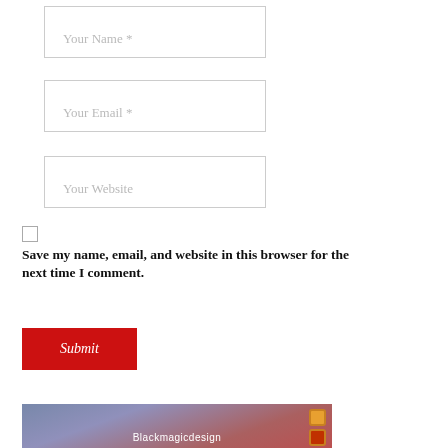[Figure (other): Web form input field with placeholder text 'Your Name *']
[Figure (other): Web form input field with placeholder text 'Your Email *']
[Figure (other): Web form input field with placeholder text 'Your Website']
Save my name, email, and website in this browser for the next time I comment.
[Figure (other): Red Submit button]
[Figure (photo): Partial image showing Blackmagicdesign logo/branding with orange and red colored dots on right side]